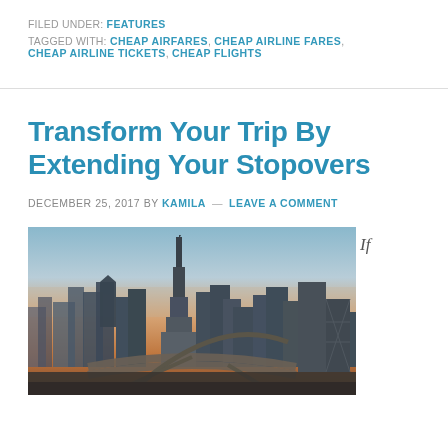FILED UNDER: FEATURES
TAGGED WITH: CHEAP AIRFARES, CHEAP AIRLINE FARES, CHEAP AIRLINE TICKETS, CHEAP FLIGHTS
Transform Your Trip By Extending Your Stopovers
DECEMBER 25, 2017 BY KAMILA — LEAVE A COMMENT
[Figure (photo): Aerial skyline view of Dubai city with the Burj Khalifa tower prominently visible, photographed at sunset/dusk with warm orange tones in the lower sky and blue haze above. Highway interchange visible in the foreground.]
If